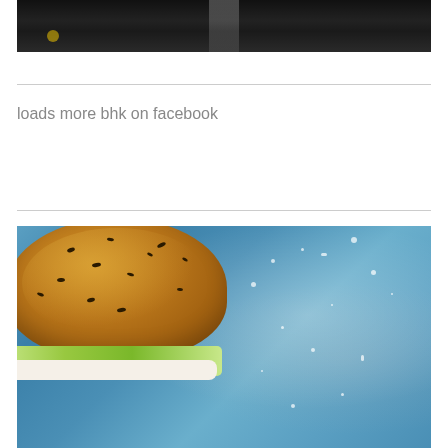[Figure (photo): Top portion of a dark background photo, appears to show a food or cooking scene with black background and a faint waterfall or liquid stream in the center]
loads more bhk on facebook
[Figure (photo): A burger with a seeded whole grain bun on a blue weathered background with salt or water being splashed around it. The burger has green lettuce and white sauce visible.]